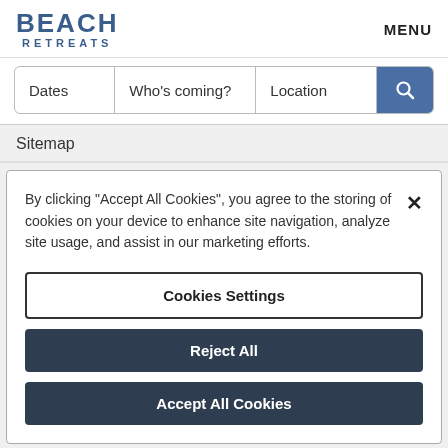BEACH RETREATS | MENU
[Figure (screenshot): Search bar with fields: Dates, Who's coming?, Location, and a blue search icon button]
Sitemap
By clicking “Accept All Cookies”, you agree to the storing of cookies on your device to enhance site navigation, analyze site usage, and assist in our marketing efforts.
Cookies Settings
Reject All
Accept All Cookies